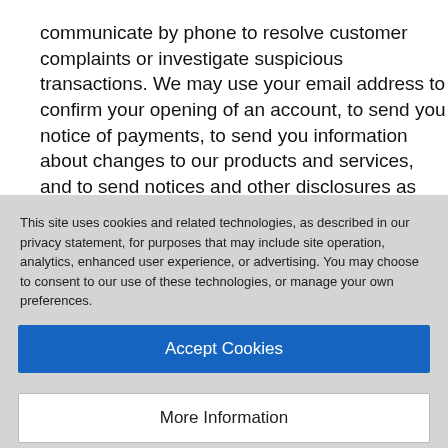communicate by phone to resolve customer complaints or investigate suspicious transactions. We may use your email address to confirm your opening of an account, to send you notice of payments, to send you information about changes to our products and services, and to send notices and other disclosures as required by law. Generally, users cannot opt out of these
This site uses cookies and related technologies, as described in our privacy statement, for purposes that may include site operation, analytics, enhanced user experience, or advertising. You may choose to consent to our use of these technologies, or manage your own preferences.
Accept Cookies
More Information
Privacy Policy | Powered by: TrustArc